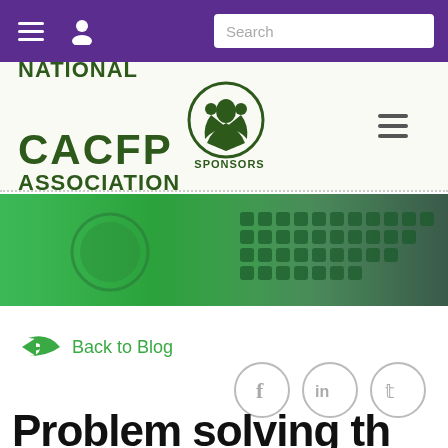[Figure (screenshot): Website navigation bar with purple background, hamburger menu icon, person/account icon, and search box]
[Figure (logo): National CACFP Sponsors Association logo with green text and emblem showing three figures in a circle]
[Figure (photo): Hero banner image showing a typewriter and coffee cup with green tint overlay]
Back to Blog
[Figure (infographic): Social media share icons for Facebook, LinkedIn, and Twitter in grey circles]
Problem solving th…